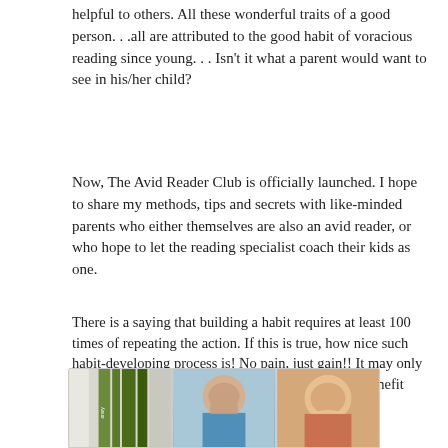helpful to others. All these wonderful traits of a good person…all are attributed to the good habit of voracious reading since young… Isn't it what a parent would want to see in his/her child?
Now, The Avid Reader Club is officially launched. I hope to share my methods, tips and secrets with like-minded parents who either themselves are also an avid reader, or who hope to let the reading specialist coach their kids as one.
There is a saying that building a habit requires at least 100 times of repeating the action. If this is true, how nice such habit-developing process is! No pain, just gain!! It may only take you 20 minutes a day to read to your child to benefit him/her for life! So, what are you waiting for?
[Figure (photo): Three photos side by side at the bottom of the page: first shows a bookshelf with green spines, second shows a young Asian male looking down, third shows a young Asian female smiling.]